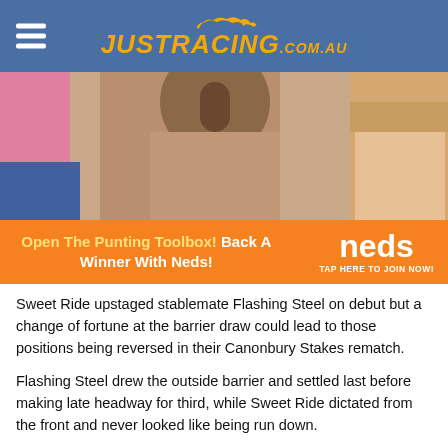JUSTRACING.COM.AU
[Figure (photo): People at what appears to be a racing event, including a woman in a beige top being interviewed with a microphone, and others around her.]
[Figure (infographic): Neds betting advertisement banner: 'Open The Punting Toolbox! Back A Winner With Neds!' with Neds logo and 'TAP HERE TO JOIN NOW!']
Sweet Ride upstaged stablemate Flashing Steel on debut but a change of fortune at the barrier draw could lead to those positions being reversed in their Canonbury Stakes rematch.
Flashing Steel drew the outside barrier and settled last before making late headway for third, while Sweet Ride dictated from the front and never looked like being run down.
However, with Flashing Steel drawing the rails for Saturday's Rosehill assignment and Sweet Ride having to jump from gate